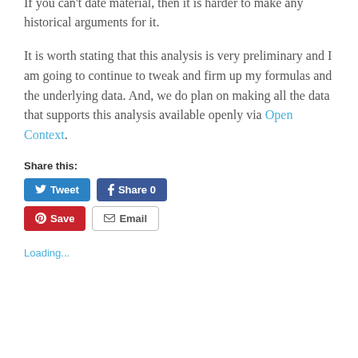If you can't date material, then it is harder to make any historical arguments for it.
It is worth stating that this analysis is very preliminary and I am going to continue to tweak and firm up my formulas and the underlying data. And, we do plan on making all the data that supports this analysis available openly via Open Context.
Share this:
[Figure (other): Social sharing buttons: Tweet (Twitter), Share 0 (Facebook), Save (Pinterest), Email]
Loading...